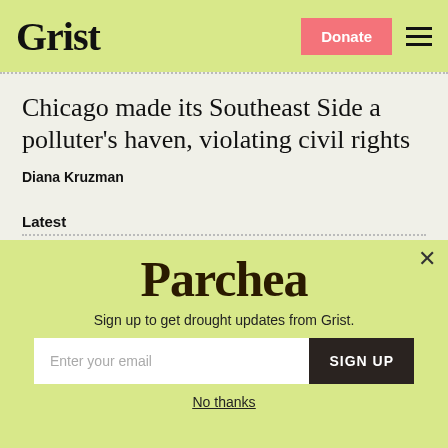Grist | Donate | Menu
Chicago made its Southeast Side a polluter’s haven, violating civil rights
Diana Kruzman
Latest
[Figure (screenshot): Parchea newsletter modal popup with lime-green background, showing the Parchea logo, text 'Sign up to get drought updates from Grist.', an email input field, a SIGN UP button, and a 'No thanks' link]
Sign up to get drought updates from Grist.
No thanks